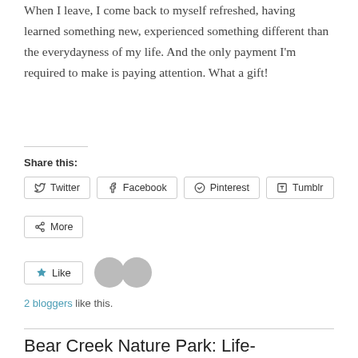When I leave, I come back to myself refreshed, having learned something new, experienced something different than the everydayness of my life. And the only payment I'm required to make is paying attention. What a gift!
Share this:
Twitter | Facebook | Pinterest | Tumblr | More
Like
2 bloggers like this.
Bear Creek Nature Park: Life-